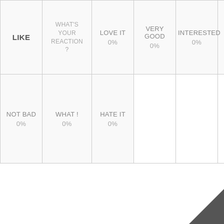| LIKE | WHAT'S YOUR REACTION? | LOVE IT | VERY GOOD | INTERESTED | COOL | NOT BAD | WHAT ! | HATE IT |
| --- | --- | --- | --- | --- | --- | --- | --- | --- |
| LIKE | WHAT'S YOUR REACTION? | LOVE IT
0% | VERY GOOD
0% | INTERESTED
0% | COOL
0% |
| NOT BAD
0% | WHAT !
0% | HATE IT
0% |  |  |  |